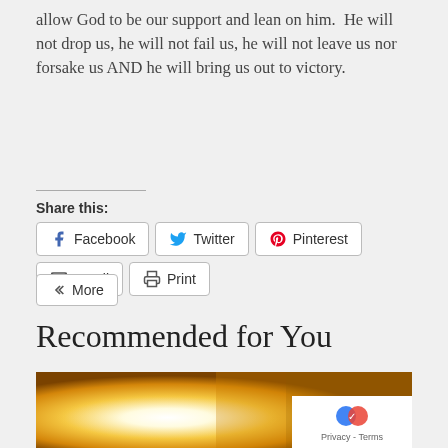allow God to be our support and lean on him.  He will not drop us, he will not fail us, he will not leave us nor forsake us AND he will bring us out to victory.
Share this:
Facebook  Twitter  Pinterest  Email  Print  More
Recommended for You
[Figure (photo): Bright sunlight shining through golden autumn foliage, warm orange and yellow tones]